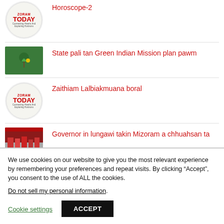Horoscope-2
State pali tan Green Indian Mission plan pawm
Zaithiam Lalbiakmuana boral
Governor in lungawi takin Mizoram a chhuahsan ta
We use cookies on our website to give you the most relevant experience by remembering your preferences and repeat visits. By clicking “Accept”, you consent to the use of ALL the cookies.
Do not sell my personal information.
Cookie settings  ACCEPT